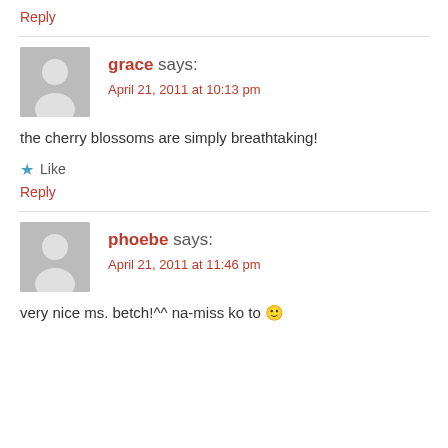Reply
grace says:
April 21, 2011 at 10:13 pm
the cherry blossoms are simply breathtaking!
★ Like
Reply
phoebe says:
April 21, 2011 at 11:46 pm
very nice ms. betch!^^ na-miss ko to 😊